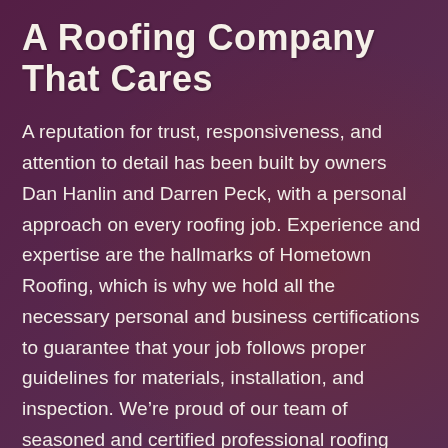A Roofing Company That Cares
A reputation for trust, responsiveness, and attention to detail has been built by owners Dan Hanlin and Darren Peck, with a personal approach on every roofing job. Experience and expertise are the hallmarks of Hometown Roofing, which is why we hold all the necessary personal and business certifications to guarantee that your job follows proper guidelines for materials, installation, and inspection. We're proud of our team of seasoned and certified professional roofing contractors, many of whom have been with the team for over 10 years. Thank you for allowing us to be your